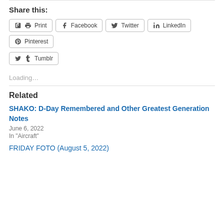Share this:
Print
Facebook
Twitter
LinkedIn
Pinterest
Tumblr
Loading...
Related
SHAKO: D-Day Remembered and Other Greatest Generation Notes
June 6, 2022
In "Aircraft"
FRIDAY FOTO (August 5, 2022)